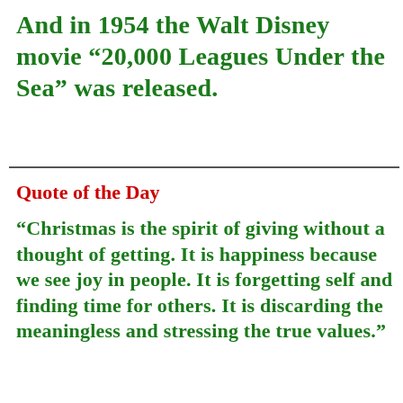And in 1954 the Walt Disney movie “20,000 Leagues Under the Sea” was released.
Quote of the Day
“Christmas is the spirit of giving without a thought of getting. It is happiness because we see joy in people. It is forgetting self and finding time for others. It is discarding the meaningless and stressing the true values.”